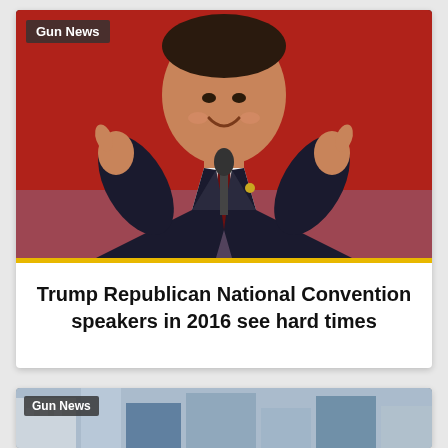[Figure (photo): Man in dark suit giving two thumbs up at a podium with microphone, smiling, in front of a red background, at what appears to be a political convention.]
Gun News
Trump Republican National Convention speakers in 2016 see hard times
[Figure (photo): Partial image of buildings, second card beginning at bottom of page.]
Gun News